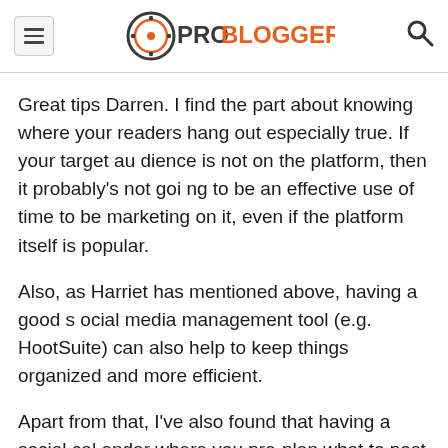ProBlogger
Great tips Darren. I find the part about knowing where your readers hang out especially true. If your target audience is not on the platform, then it probably's not going to be an effective use of time to be marketing on it, even if the platform itself is popular.
Also, as Harriet has mentioned above, having a good social media management tool (e.g. HootSuite) can also help to keep things organized and more efficient.
Apart from that, I've also found that having a social calendar where you pre-plan what to post for each day (maybe 1 week in advance) can help to keep things movin